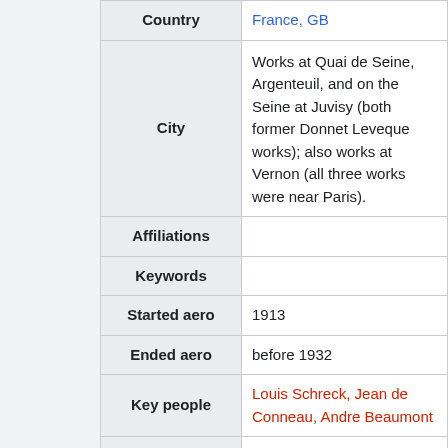| Field | Value |
| --- | --- |
| Country | France, GB |
| City | Works at Quai de Seine, Argenteuil, and on the Seine at Juvisy (both former Donnet Leveque works); also works at Vernon (all three works were near Paris). |
| Affiliations |  |
| Keywords |  |
| Started aero | 1913 |
| Ended aero | before 1932 |
| Key people | Louis Schreck, Jean de Conneau, Andre Beaumont |
| Wikidata id |  |